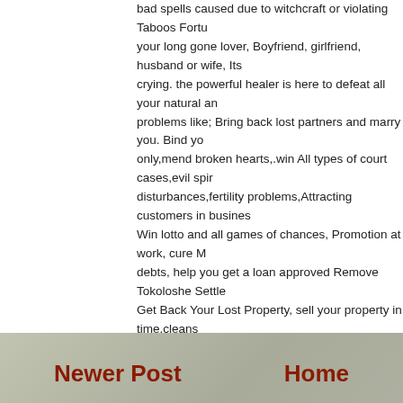bad spells caused due to witchcraft or violating Taboos Fortu... your long gone lover, Boyfriend, girlfriend, husband or wife, Its... crying. the powerful healer is here to defeat all your natural a... problems like; Bring back lost partners and marry you. Bind yo... only,mend broken hearts,.win All types of court cases,evil spi... disturbances,fertility problems,Attracting customers in busines... Win lotto and all games of chances, Promotion at work, cure N... debts, help you get a loan approved Remove Tokoloshe Settle... Get Back Your Lost Property, sell your property in time,cleans... office and much more if your situation isn't explicitly described... me and tell me about your situation. I will check it out and hel... ali @ +256781610206 email: shiekali2@gmail.com www.men...
February 22, 2017 at 4:54 AM
Post a Comment
Newer Post
Home
Subscribe to: Post Comments (Atom)